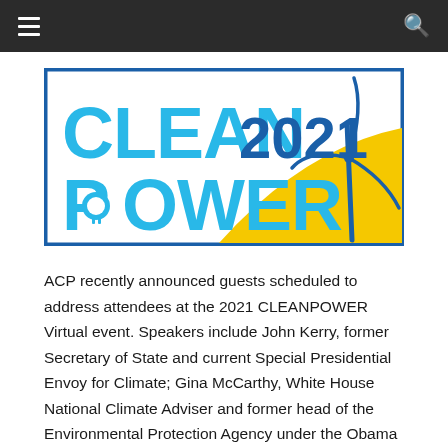[Figure (logo): Clean Power 2021 logo with blue border, bold blue and light-blue text reading CLEAN POWER 2021, a yellow curved hill, and a white wind turbine on the right side.]
ACP recently announced guests scheduled to address attendees at the 2021 CLEANPOWER Virtual event. Speakers include John Kerry, former Secretary of State and current Special Presidential Envoy for Climate; Gina McCarthy, White House National Climate Adviser and former head of the Environmental Protection Agency under the Obama administration; Sen. Joni Ernst (R-Iowa); Richard Glick, chairman of the Federal Energy Regulatory Commission; and Andrew Steer, president and CEO of the